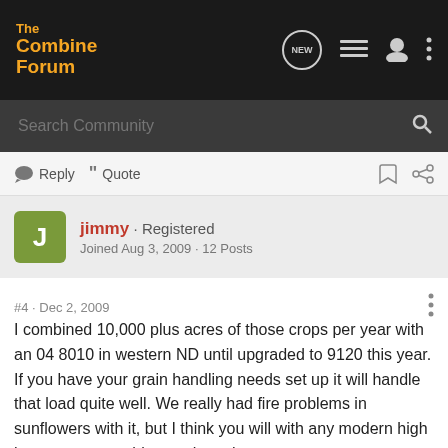The Combine Forum
Search Community
Reply  Quote
jimmy · Registered
Joined Aug 3, 2009 · 12 Posts
#4 · Dec 2, 2009
I combined 10,000 plus acres of those crops per year with an 04 8010 in western ND until upgraded to 9120 this year. If you have your grain handling needs set up it will handle that load quite well. We really had fire problems in sunflowers with it, but I think you will with any modern high horsepower machine as the exhaust components run way to hot. We had more this year with the 9120.